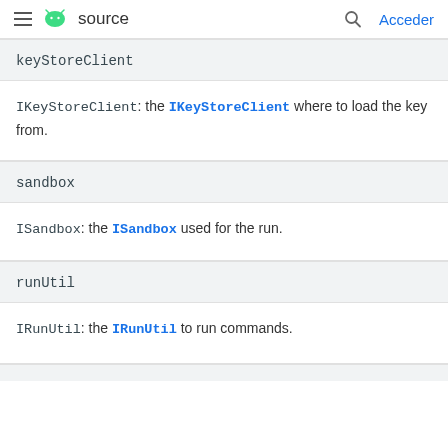≡ android source   🔍   Acceder
keyStoreClient
IKeyStoreClient: the IKeyStoreClient where to load the key from.
sandbox
ISandbox: the ISandbox used for the run.
runUtil
IRunUtil: the IRunUtil to run commands.